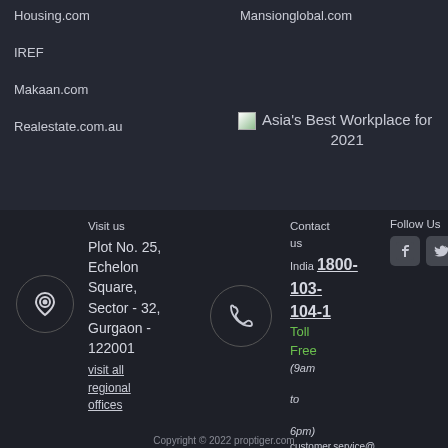Housing.com
Mansionglobal.com
IREF
Makaan.com
Realestate.com.au
[Figure (logo): Asia's Best Workplace for 2021 badge icon]
Visit us
Plot No. 25, Echelon Square, Sector - 32, Gurgaon - 122001
visit all regional offices
[Figure (illustration): Location pin icon in circle]
[Figure (illustration): Phone icon in circle]
Contact us
India 1800-103-104-1
Toll Free
(9am to 6pm)
customer.service@proptiger.com
Follow Us
[Figure (illustration): Facebook icon]
[Figure (illustration): Twitter icon]
Copyright © 2022 proptiger.com